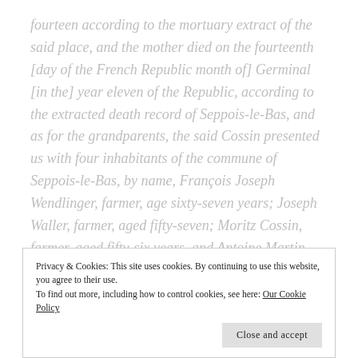fourteen according to the mortuary extract of the said place, and the mother died on the fourteenth [day of the French Republic month of] Germinal [in the] year eleven of the Republic, according to the extracted death record of Seppois-le-Bas, and as for the grandparents, the said Cossin presented us with four inhabitants of the commune of Seppois-le-Bas, by name, François Joseph Wendlinger, farmer, age sixty-seven years; Joseph Waller, farmer, aged fifty-seven; Moritz Cossin, farmer, aged fifty-six years, and Antoine Martin, blacksmith, aged fifty-three years;
Privacy & Cookies: This site uses cookies. By continuing to use this website, you agree to their use.
To find out more, including how to control cookies, see here: Our Cookie Policy
Close and accept
attached letter of Mr. Colin, the mayor of Seppois-le-Bas,